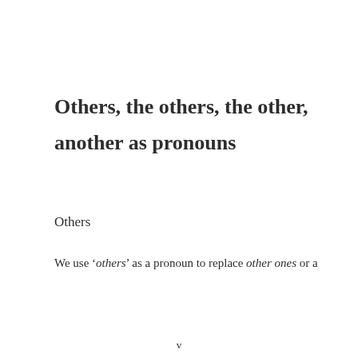Others, the others, the other, another as pronouns
Others
We use ‘others’ as a pronoun to replace other ones or a
v